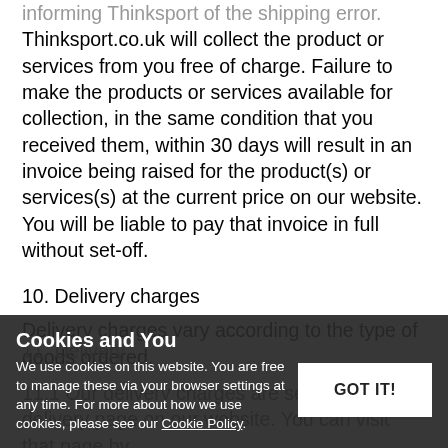Thinksport.co.uk will collect the product or services from you free of charge. Failure to make the products or services available for collection, in the same condition that you received them, within 30 days will result in an invoice being raised for the product(s) or services(s) at the current price on our website. You will be liable to pay that invoice in full without set-off.
10. Delivery charges
Delivery charges vary according to the type of goods ordered.
11. Delivery
11.1 Our delivery charges are set out on our delivery page on our website. You can visit that page by
Cookies and You
We use cookies on this website. You are free to manage these via your browser settings at any time. For more about how we use cookies, please see our Cookie Policy.